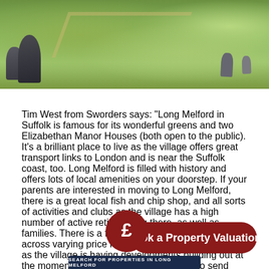[Figure (photo): Photograph of a grassy churchyard or cemetery with dark gravestones in the foreground and a path visible in the background under bright sunlight.]
Tim West from Sworders says: “Long Melford in Suffolk is famous for its wonderful greens and two Elizabethan Manor Houses (both open to the public). It’s a brilliant place to live as the village offers great transport links to London and is near the Suffolk coast, too. Long Melford is filled with history and offers lots of local amenities on your doorstep. If your parents are interested in moving to Long Melford, there is a great local fish and chip shop, and all sorts of activities and clubs as the village has a high number of active retired living there, as well as families. There is a fantastic selection of houses across varying price ranges, including new homes, as the village is having developments building out at the moment. I can’t think of better places to send your parents.”
[Figure (infographic): Red circular pound sign speech bubble overlapping with a dark red rounded rectangle button reading 'Book a Property Valuation']
SEARCH FOR PROPERTIES IN LONG MELFORD